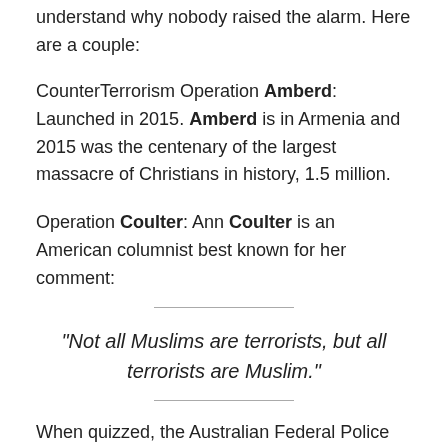understand why nobody raised the alarm. Here are a couple:
CounterTerrorism Operation Amberd: Launched in 2015. Amberd is in Armenia and 2015 was the centenary of the largest massacre of Christians in history, 1.5 million.
Operation Coulter: Ann Coulter is an American columnist best known for her comment:
“Not all Muslims are terrorists, but all terrorists are Muslim.”
When quizzed, the Australian Federal Police had a bizarre explanation: the government, they claimed,